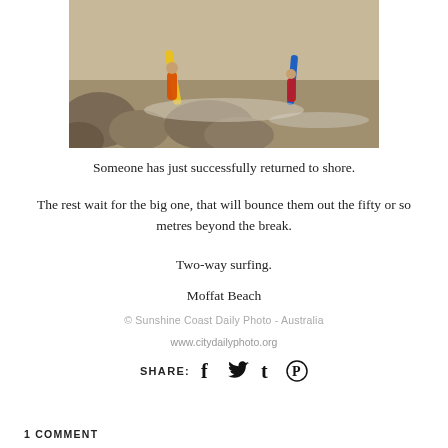[Figure (photo): People with surfboards on rocks near the ocean shore, one person returning from the water]
Someone has just successfully returned to shore.
The rest wait for the big one, that will bounce them out the fifty or so metres beyond the break.
Two-way surfing.
Moffat Beach
© Sunshine Coast Daily Photo - Australia
www.citydailyphoto.org
SHARE:
1 COMMENT